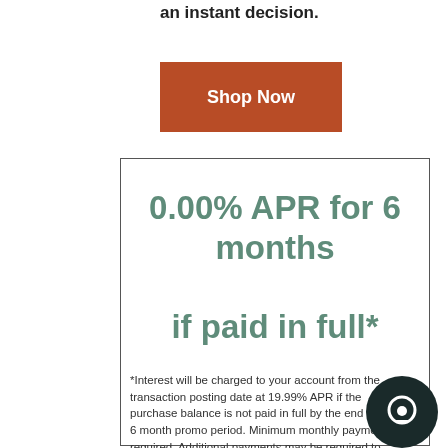an instant decision.
Shop Now
0.00% APR for 6 months if paid in full*
*Interest will be charged to your account from the transaction posting date at 19.99% APR if the purchase balance is not paid in full by the end of the 6 month promo period. Minimum monthly payment required. Additional payments may be required to pay off purchase before